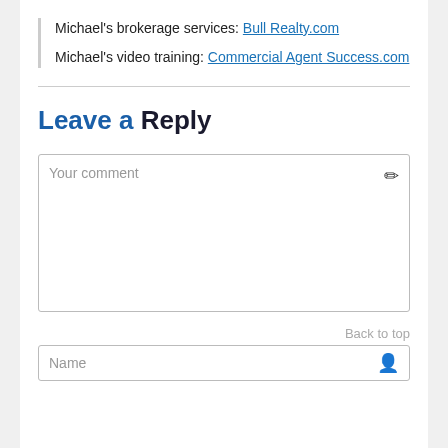Michael's brokerage services: Bull Realty.com
Michael's video training: Commercial Agent Success.com
Leave a Reply
Your comment
Back to top
Name